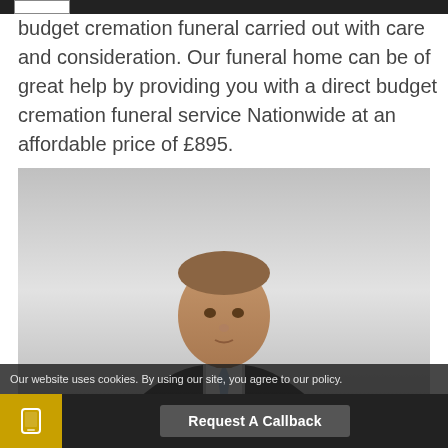budget cremation funeral carried out with care and consideration. Our funeral home can be of great help by providing you with a direct budget cremation funeral service Nationwide at an affordable price of £895.
[Figure (photo): Professional headshot of a young man in a dark suit and light blue tie, photographed against a light background]
Our website uses cookies. By using our site, you agree to our policy.
Request A Callback